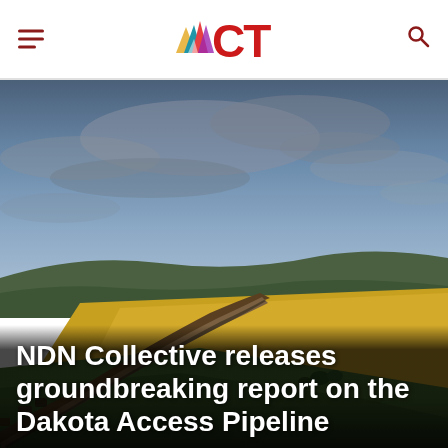ICT
[Figure (photo): Aerial landscape photo showing pipeline construction cutting diagonally across rolling green and golden fields under a dramatic blue and grey cloudy sky in the Great Plains region.]
NDN Collective releases groundbreaking report on the Dakota Access Pipeline